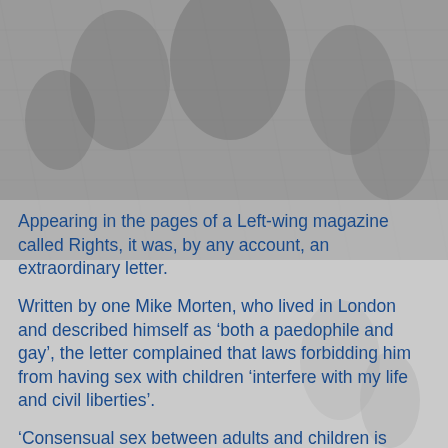[Figure (illustration): A faded grayscale historical engraving/illustration showing multiple figures in classical or biblical scene, used as background image behind the text overlay.]
Appearing in the pages of a Left-wing magazine called Rights, it was, by any account, an extraordinary letter.
Written by one Mike Morten, who lived in London and described himself as ‘both a paedophile and gay’, the letter complained that laws forbidding him from having sex with children ‘interfere with my life and civil liberties’.
‘Consensual sex between adults and children is simply people of different age groups being nice to each other,’ it argued.
Morten then criticised recent newspaper articles which had described perpetrators of child sex offences as ‘molesters’.